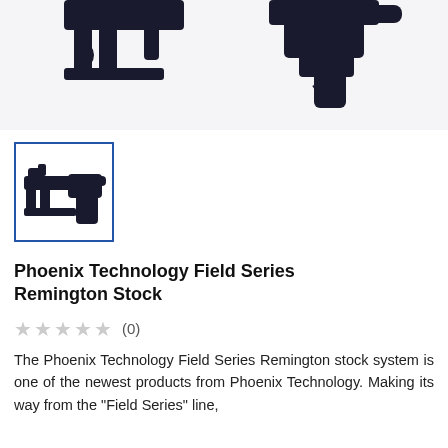[Figure (photo): Main product image area showing firearm stock from top — partial view of Phoenix Technology Field Series Remington Stock on light gray background]
[Figure (photo): Thumbnail image of Phoenix Technology Field Series Remington Stock, black firearm stock shown from side, inside blue-bordered box]
Phoenix Technology Field Series Remington Stock
★★★★★ (0)
The Phoenix Technology Field Series Remington stock system is one of the newest products from Phoenix Technology. Making its way from the "Field Series" line,